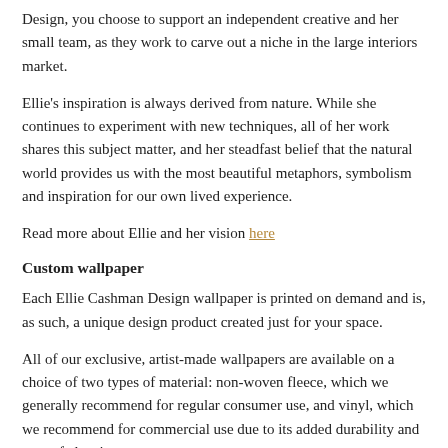Design, you choose to support an independent creative and her small team, as they work to carve out a niche in the large interiors market.
Ellie's inspiration is always derived from nature. While she continues to experiment with new techniques, all of her work shares this subject matter, and her steadfast belief that the natural world provides us with the most beautiful metaphors, symbolism and inspiration for our own lived experience.
Read more about Ellie and her vision here
Custom wallpaper
Each Ellie Cashman Design wallpaper is printed on demand and is, as such, a unique design product created just for your space.
All of our exclusive, artist-made wallpapers are available on a choice of two types of material: non-woven fleece, which we generally recommend for regular consumer use, and vinyl, which we recommend for commercial use due to its added durability and ease of cleaning.